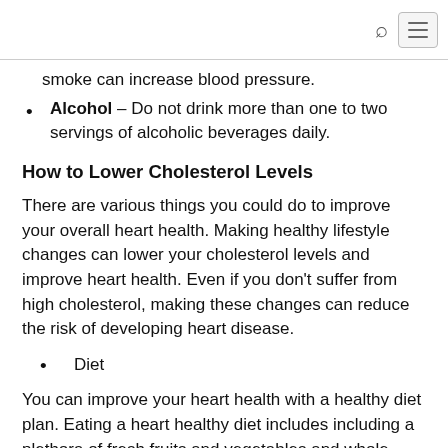[search icon] [menu button]
smoke can increase blood pressure.
Alcohol – Do not drink more than one to two servings of alcoholic beverages daily.
How to Lower Cholesterol Levels
There are various things you could do to improve your overall heart health. Making healthy lifestyle changes can lower your cholesterol levels and improve heart health. Even if you don't suffer from high cholesterol, making these changes can reduce the risk of developing heart disease.
Diet
You can improve your heart health with a healthy diet plan. Eating a heart healthy diet includes including a plethora of fresh fruits and vegetables and whole grains. These high fiber foods help to remove all excess bad cholesterol from the body. When choosing meats and dairy products, opt for low fat options. Finally, limit the amount of fatty foods and